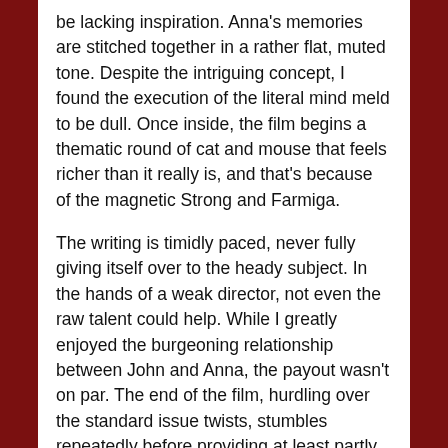be lacking inspiration. Anna's memories are stitched together in a rather flat, muted tone. Despite the intriguing concept, I found the execution of the literal mind meld to be dull. Once inside, the film begins a thematic round of cat and mouse that feels richer than it really is, and that's because of the magnetic Strong and Farmiga.
The writing is timidly paced, never fully giving itself over to the heady subject. In the hands of a weak director, not even the raw talent could help. While I greatly enjoyed the burgeoning relationship between John and Anna, the payout wasn't on par. The end of the film, hurdling over the standard issue twists, stumbles repeatedly before providing at least partly satisfying closure. Anna is just okay in my book. I think the interesting idea lacked any new thrills or twists, and it once again remains passable thanks to the cast and director. If a powerful script was at the